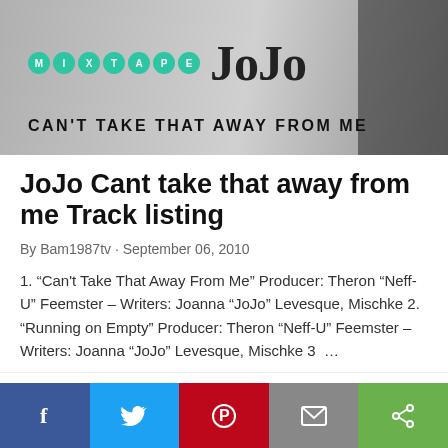[Figure (photo): Mixtape JoJo 'Can't Take That Away From Me' album header image in black and white with teal MIXTAPE badge circles and large JoJo text]
JoJo Cant take that away from me Track listing
By Bam1987tv · September 06, 2010
1. “Can't Take That Away From Me” Producer: Theron “Neff-U” Feemster – Writers: Joanna “JoJo” Levesque, Mischke 2. “Running on Empty” Producer: Theron “Neff-U” Feemster – Writers: Joanna “JoJo” Levesque, Mischke 3 ...
SHARE   POST A COMMENT   READ MORE